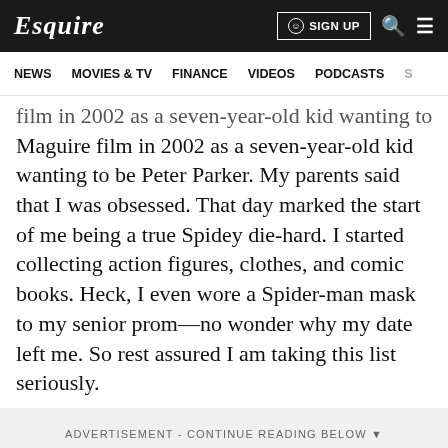Esquire | NEWS | MOVIES & TV | FINANCE | VIDEOS | PODCASTS | SIGN UP
film in 2002 as a seven-year-old kid wanting to be Peter Parker. My parents said that I was obsessed. That day marked the start of me being a true Spidey die-hard. I started collecting action figures, clothes, and comic books. Heck, I even wore a Spider-man mask to my senior prom—no wonder why my date left me. So rest assured I am taking this list seriously.
ADVERTISEMENT - CONTINUE READING BELOW